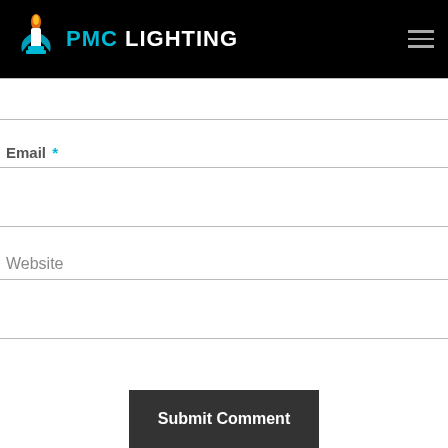PMC LIGHTING
Email *
Website
Submit Comment